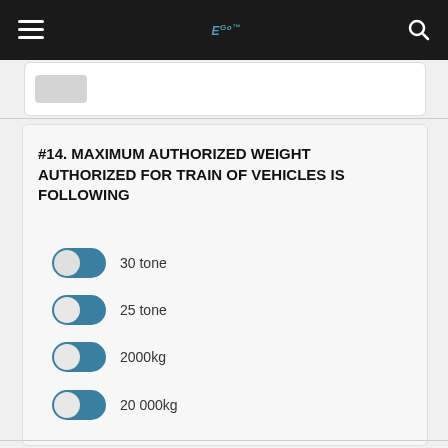EGo™ [logo]
#14. MAXIMUM AUTHORIZED WEIGHT AUTHORIZED FOR TRAIN OF VEHICLES IS FOLLOWING
30 tone
25 tone
2000kg
20 000kg